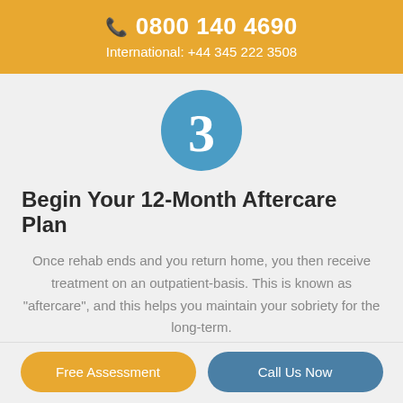0800 140 4690
International: +44 345 222 3508
[Figure (illustration): Blue circle with white number 3 inside]
Begin Your 12-Month Aftercare Plan
Once rehab ends and you return home, you then receive treatment on an outpatient-basis. This is known as "aftercare", and this helps you maintain your sobriety for the long-term.
Free Assessment   Call Us Now